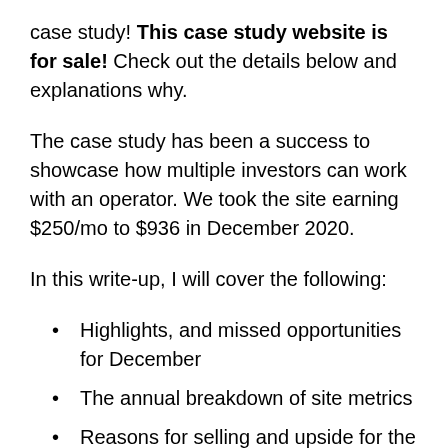case study! This case study website is for sale! Check out the details below and explanations why.
The case study has been a success to showcase how multiple investors can work with an operator. We took the site earning $250/mo to $936 in December 2020.
In this write-up, I will cover the following:
Highlights, and missed opportunities for December
The annual breakdown of site metrics
Reasons for selling and upside for the buyer